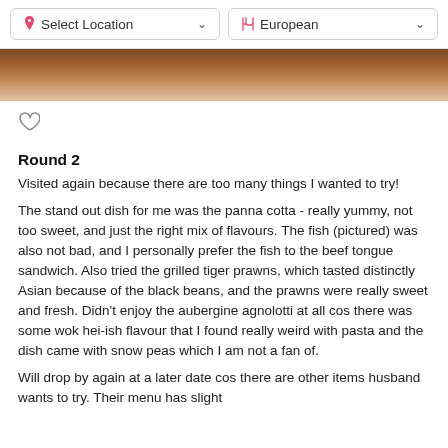Select Location | European
[Figure (photo): Partial photo of food dish, brownish tones, cropped at top]
[Figure (illustration): Heart (favorite) icon outline]
Round 2
Visited again because there are too many things I wanted to try!
The stand out dish for me was the panna cotta - really yummy, not too sweet, and just the right mix of flavours. The fish (pictured) was also not bad, and I personally prefer the fish to the beef tongue sandwich. Also tried the grilled tiger prawns, which tasted distinctly Asian because of the black beans, and the prawns were really sweet and fresh. Didn’t enjoy the aubergine agnolotti at all cos there was some wok hei-ish flavour that I found really weird with pasta and the dish came with snow peas which I am not a fan of.
Will drop by again at a later date cos there are other items husband wants to try. Their menu has slight